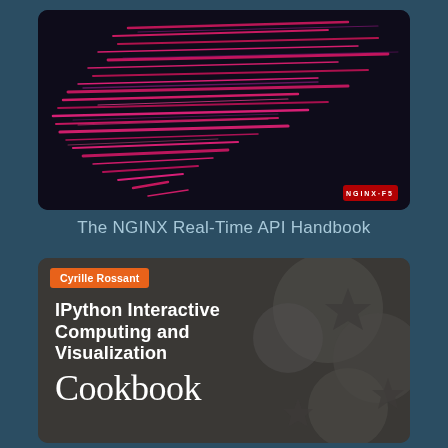[Figure (illustration): Book cover for 'The NGINX Real-Time API Handbook' featuring pink and magenta diagonal lines/streaks on a dark background with NGINX F5 logo in bottom right]
The NGINX Real-Time API Handbook
[Figure (illustration): Book cover for 'IPython Interactive Computing and Visualization Cookbook' by Cyrille Rossant. Dark gray background with blurred circle/star shapes. Orange author name bar at top. White bold title text.]